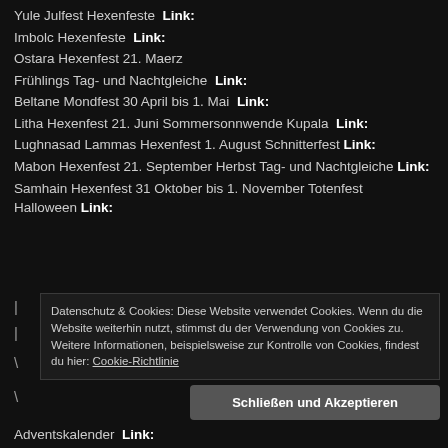Yule Julfest Hexenfeste  Link:
Imbolc Hexenfeste  Link:
Ostara Hexenfest 21. Maerz
Frühlings Tag- und Nachtgleiche  Link:
Beltane Mondfest 30 April bis 1. Mai  Link:
Litha Hexenfest 21. Juni Sommersonnwende Kupala  Link:
Lughnasad Lammas Hexenfest 1. August Schnitterfest  Link:
Mabon Hexenfest 21. September Herbst Tag- und Nachtgleiche  Link:
Samhain Hexenfest 31 Oktober bis 1. November Totenfest Halloween  Link:
Datenschutz & Cookies: Diese Website verwendet Cookies. Wenn du die Website weiterhin nutzt, stimmst du der Verwendung von Cookies zu. Weitere Informationen, beispielsweise zur Kontrolle von Cookies, findest du hier: Cookie-Richtlinie
Schließen und Akzeptieren
Adventskalender  Link: